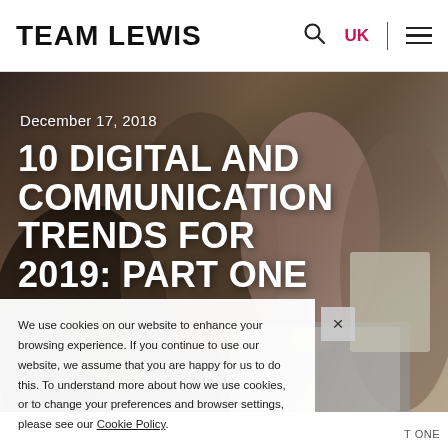TEAM LEWIS
[Figure (photo): Group of young people sitting together using various digital devices including smartphones, tablets, and a laptop on a wooden table]
December 17, 2018
10 DIGITAL AND COMMUNICATION TRENDS FOR 2019: PART ONE
We use cookies on our website to enhance your browsing experience. If you continue to use our website, we assume that you are happy for us to do this. To understand more about how we use cookies, or to change your preferences and browser settings, please see our Cookie Policy.
T ONE